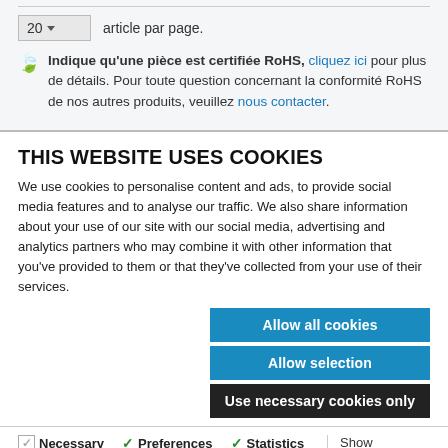20 ▾  article par page.
🍃 Indique qu'une pièce est certifiée RoHS, cliquez ici pour plus de détails. Pour toute question concernant la conformité RoHS de nos autres produits, veuillez nous contacter.
THIS WEBSITE USES COOKIES
We use cookies to personalise content and ads, to provide social media features and to analyse our traffic. We also share information about your use of our site with our social media, advertising and analytics partners who may combine it with other information that you've provided to them or that they've collected from your use of their services.
Allow all cookies
Allow selection
Use necessary cookies only
Necessary  Preferences  Statistics  Marketing  Show details